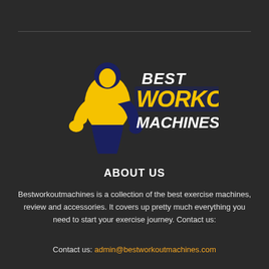[Figure (logo): Best Workout Machines logo: muscular figure in yellow and dark navy blue on left, bold text 'BEST WORKOUT MACHINES' in white and yellow italic letters on right]
ABOUT US
Bestworkoutmachines is a collection of the best exercise machines, review and accessories. It covers up pretty much everything you need to start your exercise journey. Contact us:
Contact us: admin@bestworkoutmachines.com